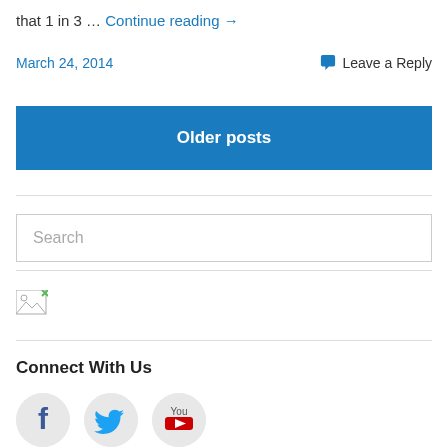that 1 in 3 … Continue reading →
March 24, 2014   Leave a Reply
Older posts
Search
[Figure (other): Broken/missing image icon]
Connect With Us
[Figure (other): Social media icons: Facebook, Twitter, YouTube]